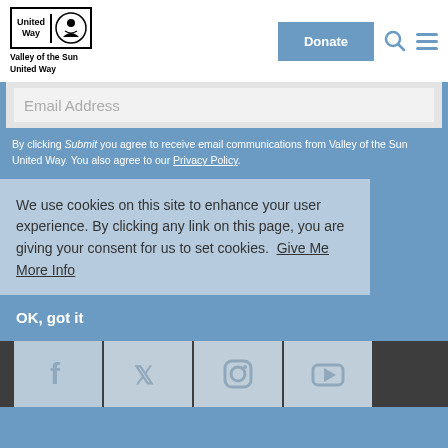[Figure (logo): United Way Valley of the Sun United Way logo with emblem]
Donate
Email Address
By clicking Submit you agree to receive email communications from Valley of the Sun United Way. You also agree to our Privacy Policy.
We use cookies on this site to enhance your user experience. By clicking any link on this page, you are giving your consent for us to set cookies.  Give Me More Info
OK, got it
[Figure (illustration): Social media icons: Facebook, Twitter, Instagram, YouTube]